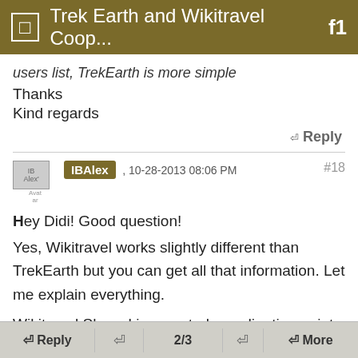Trek Earth and Wikitravel Coop...
users list, TrekEarth is more simple
Thanks
Kind regards
↵ Reply
IBAlex , 10-28-2013 08:06 PM #18
Hey Didi! Good question!
Yes, Wikitravel works slightly different than TrekEarth but you can get all that information. Let me explain everything.

Wikitravel Shared is a central coordination point for all our files (images, maps). Here you can see all the pictures that users upload. User list
(http://wikitravel.org/shared/Special:ListUsers) will show
↵ Reply  ↵  2/3  ↵  ↵ More